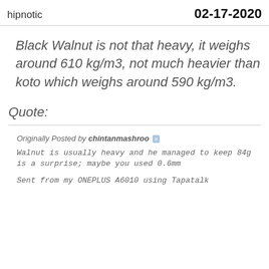hipnotic   02-17-2020
Black Walnut is not that heavy, it weighs around 610 kg/m3, not much heavier than koto which weighs around 590 kg/m3.
Quote:
Originally Posted by chintanmashroo
Walnut is usually heavy and he managed to keep 84g is a surprise; maybe you used 0.6mm
Sent from my ONEPLUS A6010 using Tapatalk